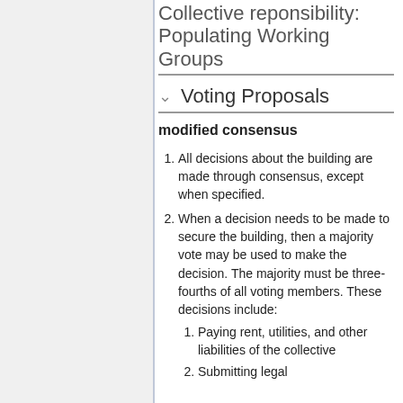Collective reponsibility: Populating Working Groups
Voting Proposals
modified consensus
All decisions about the building are made through consensus, except when specified.
When a decision needs to be made to secure the building, then a majority vote may be used to make the decision. The majority must be three-fourths of all voting members. These decisions include:
Paying rent, utilities, and other liabilities of the collective
Submitting legal